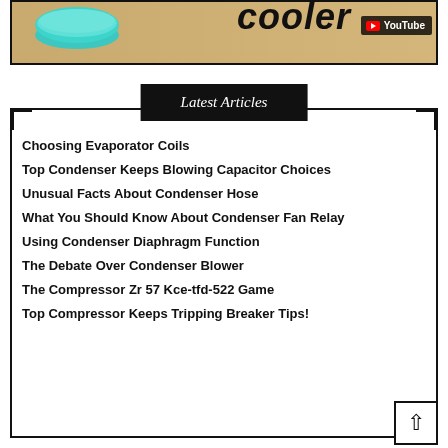[Figure (screenshot): Partial YouTube video thumbnail showing a teal/turquoise bowl on a wooden surface with partial text 'cooler' visible and YouTube play button badge]
Latest Articles
Choosing Evaporator Coils
Top Condenser Keeps Blowing Capacitor Choices
Unusual Facts About Condenser Hose
What You Should Know About Condenser Fan Relay
Using Condenser Diaphragm Function
The Debate Over Condenser Blower
The Compressor Zr 57 Kce-tfd-522 Game
Top Compressor Keeps Tripping Breaker Tips!